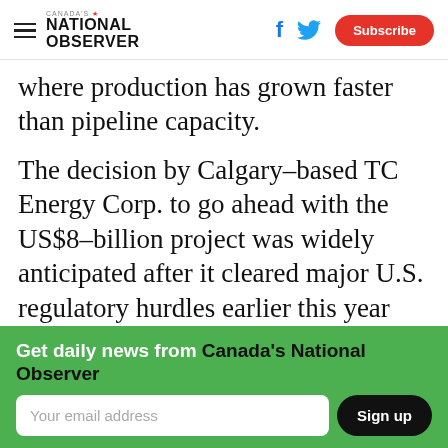Canada's National Observer — Navigation header with Facebook, Twitter social icons and Subscribe button
where production has grown faster than pipeline capacity.
The decision by Calgary-based TC Energy Corp. to go ahead with the US$8-billion project was widely anticipated after it cleared major U.S. regulatory hurdles earlier this year and began site preparation work in Montana, South Dakota and Nebraska.
Get daily news from Canada's National Observer
Your email address